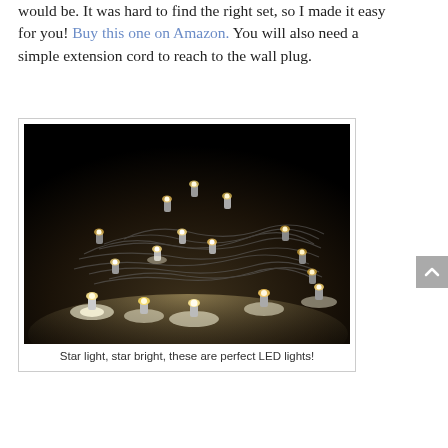would be. It was hard to find the right set, so I made it easy for you! Buy this one on Amazon. You will also need a simple extension cord to reach to the wall plug.
[Figure (photo): A bundle of warm white LED string lights coiled together against a dark background, glowing brightly on a reflective surface.]
Star light, star bright, these are perfect LED lights!